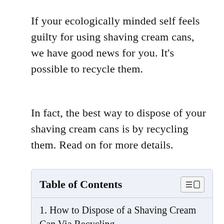If your ecologically minded self feels guilty for using shaving cream cans, we have good news for you. It's possible to recycle them.
In fact, the best way to dispose of your shaving cream cans is by recycling them. Read on for more details.
Table of Contents
1. How to Dispose of a Shaving Cream Can Via Recycling
1.1. Step 1: Empty the Can
1.2. Step 2: Understand Recycling Requirements